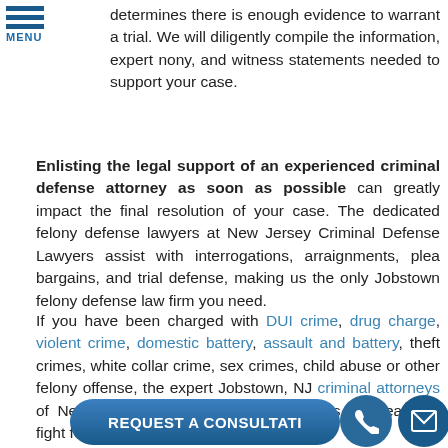MENU
determines there is enough evidence to warrant a trial. We will diligently compile the information, expert testimony, and witness statements needed to support your case.
Enlisting the legal support of an experienced criminal defense attorney as soon as possible can greatly impact the final resolution of your case. The dedicated felony defense lawyers at New Jersey Criminal Defense Lawyers assist with interrogations, arraignments, plea bargains, and trial defense, making us the only Jobstown felony defense law firm you need.
If you have been charged with DUI crime, drug charge, violent crime, domestic battery, assault and battery, theft crimes, white collar crime, sex crimes, child abuse or other felony offense, the expert Jobstown, NJ criminal attorneys of New Jersey Criminal Defense Lawyers are ready to fight for your rights.
[Figure (other): REQUEST A CONSULTATION button with phone and mail icons]